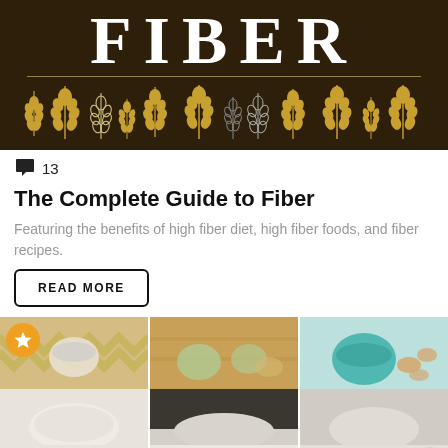[Figure (illustration): Dark brown background infographic header with large white serif text 'FIBER', a decorative horizontal line, and multiple illustrated wheat stalks in gold and white arranged in a row]
💬 13
The Complete Guide to Fiber
Featuring the benefits of high fiber diet, high fiber foods, and fiber recipes.
READ MORE
[Figure (photo): Grid of food photos showing various high-fiber foods including what appears to be chia seeds/berries in a bowl on a chevron tablecloth, nuts and lime on wood, a teal bowl with almonds, and other food items. A star badge icon is visible top-left and an X close button bottom-right.]